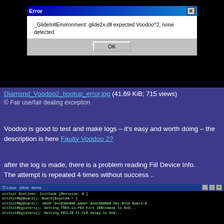[Figure (screenshot): Windows error dialog box on black background. Title bar reads 'Error' with X close button. Body text: '_GlideInitEnvironment: glide2x.dll expected Voodoo^2, none detected'. OK button below.]
Diamond_Voodoo2_bootup_error.jpg (41.69 KiB; 715 views)
© Fair use/fair dealing exception
Voodoo is good to test and make logs – it's easy and worth doing – the description is here Faulty Voodoo 2?
after the log is made, there is a problem reading Fill Device Info.
The attempt is repeated 4 times without success ..
[Figure (screenshot): Terminal/command prompt window showing log output lines starting with sttInit routines, sttInitMapBoard, sttInitRegisters etc.]